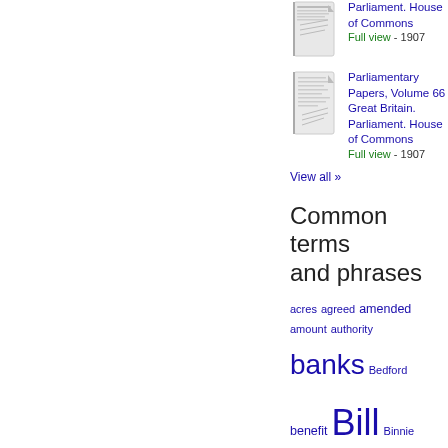[Figure (illustration): Thumbnail of a book/document for Parliamentary Papers]
Parliament. House of Commons
Full view - 1907
[Figure (illustration): Thumbnail of a book/document for Parliamentary Papers Volume 66]
Parliamentary Papers, Volume 66
Great Britain. Parliament. House of Commons
Full view - 1907
View all »
Common terms and phrases
acres  agreed  amended  amount  authority  banks  Bedford  benefit  Bill  Binnie  Board  called  Captain  carried